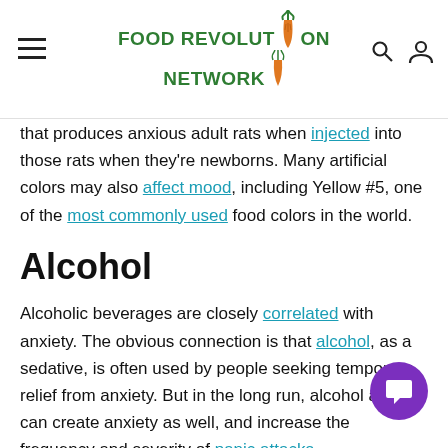Food Revolution Network
Administration. But the truth is, very few of them received individual study, looking at for potentially harmful others. One example is monosodium glutamate (MSG), a common flavor enhancer that produces anxious adult rats when injected into those rats when they’re newborns. Many artificial colors may also affect mood, including Yellow #5, one of the most commonly used food colors in the world.
Alcohol
Alcoholic beverages are closely correlated with anxiety. The obvious connection is that alcohol, as a sedative, is often used by people seeking temporary relief from anxiety. But in the long run, alcohol abuse can create anxiety as well, and increase the frequency and severity of panic attacks.